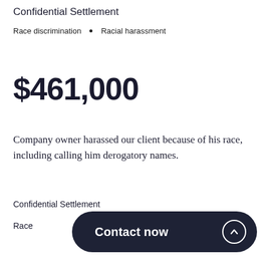Confidential Settlement
Race discrimination  •  Racial harassment
$461,000
Company owner harassed our client because of his race, including calling him derogatory names.
Confidential Settlement
Race
Contact now